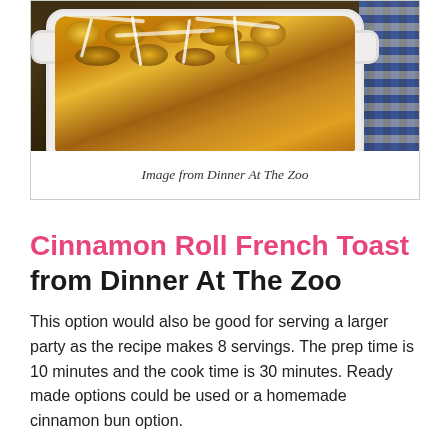[Figure (photo): Photo of a cinnamon roll French toast casserole in a white baking dish, shown from above, with a blue checkered cloth napkin visible at the right edge. The dish contains golden-brown baked pieces with white icing drizzled on top.]
Image from Dinner At The Zoo
Cinnamon Roll French Toast from Dinner At The Zoo
This option would also be good for serving a larger party as the recipe makes 8 servings. The prep time is 10 minutes and the cook time is 30 minutes. Ready made options could be used or a homemade cinnamon bun option.